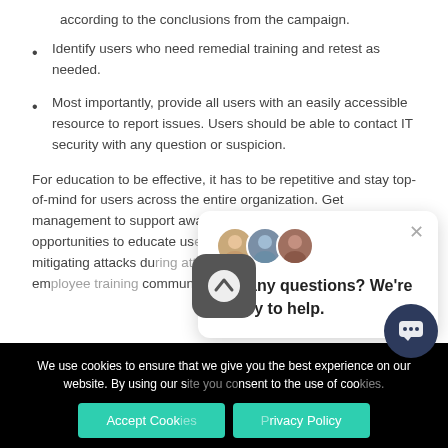according to the conclusions from the campaign.
Identify users who need remedial training and retest as needed.
Most importantly, provide all users with an easily accessible resource to report issues. Users should be able to contact IT security with any question or suspicion.
For education to be effective, it has to be repetitive and stay top-of-mind for users across the entire organization. Get management to support awareness campaigns and find opportunities to educate us... makes mitigating attacks du... more effective. Frequent em... communicating best practic...
[Figure (screenshot): Chat popup with avatars saying 'Got any questions? We're happy to help.' with close button]
We use cookies to ensure that we give you the best experience on our website. By using our s... nsent to the use of coo...
[Figure (screenshot): Scroll up button (arrow up icon on dark rounded square)]
[Figure (screenshot): Chat icon button (dark circle with chat icon)]